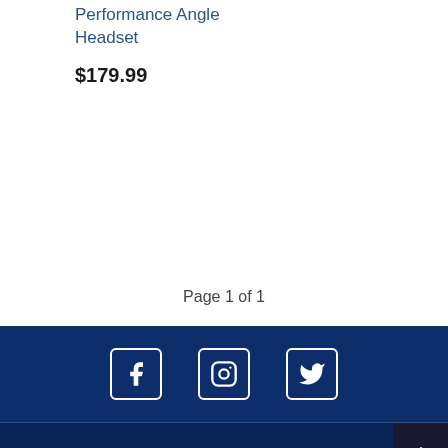Performance Angle Headset
$179.99
Page 1 of 1
[Figure (infographic): Social media icons for Facebook, Instagram, and Twitter on dark blue background]
OAK BAY BICYCLES
1990 Oak Bay Ave